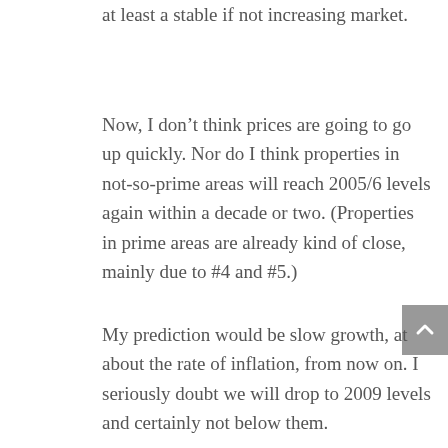at least a stable if not increasing market.
Now, I don’t think prices are going to go up quickly. Nor do I think properties in not-so-prime areas will reach 2005/6 levels again within a decade or two. (Properties in prime areas are already kind of close, mainly due to #4 and #5.)
My prediction would be slow growth, at about the rate of inflation, from now on. I seriously doubt we will drop to 2009 levels and certainly not below them.